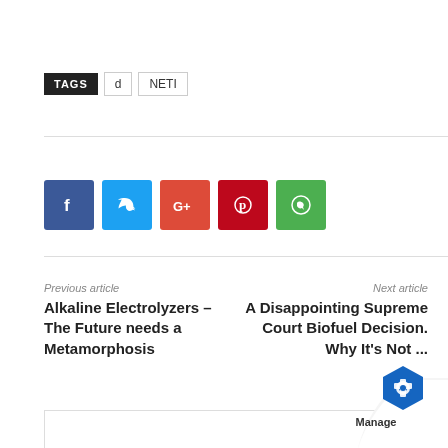TAGS  d  NETI
[Figure (infographic): Social share buttons: Facebook (blue), Twitter (light blue), Google+ (red-orange), Pinterest (red), WhatsApp (green)]
Previous article
Alkaline Electrolyzers – The Future needs a Metamorphosis
Next article
A Disappointing Supreme Court Biofuel Decision. Why It's Not ...
[Figure (illustration): Page curl effect in bottom-right corner with 'Manage' logo (blue hexagonal icon with white gear/bolt shape)]